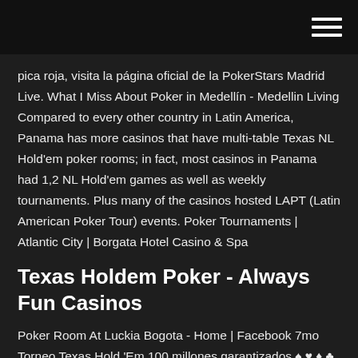menu/hamburger navigation icon
pica roja, visita la página oficial de la PokerStars Madrid Live. What I Miss About Poker in Medellín - Medellin Living Compared to every other country in Latin America, Panama has more casinos that have multi-table Texas NL Hold'em poker rooms; in fact, most casinos in Panama had 1,2 NL Hold'em games as well as weekly tournaments. Plus many of the casinos hosted LAPT (Latin American Poker Tour) events. Poker Tournaments | Atlantic City | Borgata Hotel Casino & Spa
Texas Holdem Poker - Always Fun Casinos
Poker Room At Luckia Bogota - Home | Facebook 7mo Torneo Texas Hold 'Em 100 millones garantizados ♠ ♥ ♦ ♣